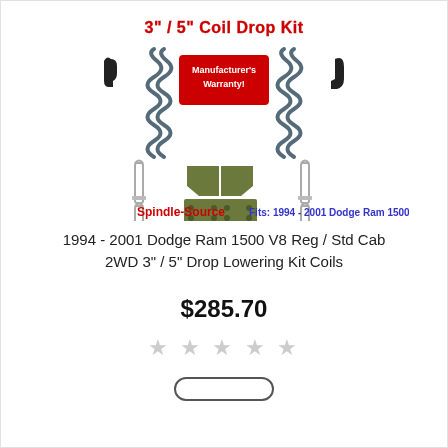[Figure (photo): Product photo of a 3-inch/5-inch Coil Drop Kit for 1994-2001 Dodge Ram 1500. Shows coil springs, brackets, U-bolts, and hardware with 'Spindle-Source' branding and text 'Fits: 1994 - 2001 Dodge Ram 1500'.]
1994 - 2001 Dodge Ram 1500 V8 Reg / Std Cab 2WD 3" / 5" Drop Lowering Kit Coils
$285.70